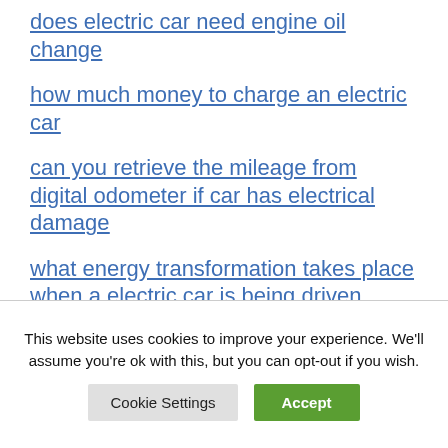does electric car need engine oil change
how much money to charge an electric car
can you retrieve the mileage from digital odometer if car has electrical damage
what energy transformation takes place when a electric car is being driven
This website uses cookies to improve your experience. We'll assume you're ok with this, but you can opt-out if you wish.
Cookie Settings  Accept